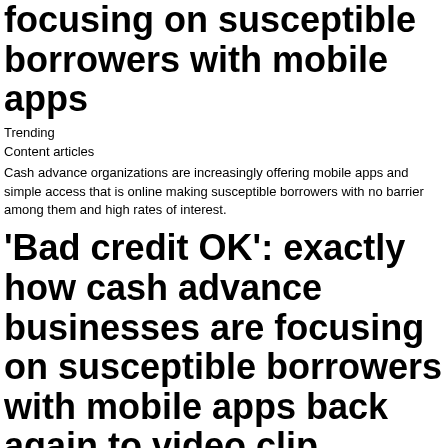focusing on susceptible borrowers with mobile apps
Trending
Content articles
Cash advance organizations are increasingly offering mobile apps and simple access that is online making susceptible borrowers with no barrier among them and high rates of interest.
'Bad credit OK': exactly how cash advance businesses are focusing on susceptible borrowers with mobile apps back again to video clip
Listed here are five schemes that investment scammers used to bilk you from your money that is hard-earne /np_storybar
"Borrow $100-$1,000 fast, " describes the app that is mobile Simple best